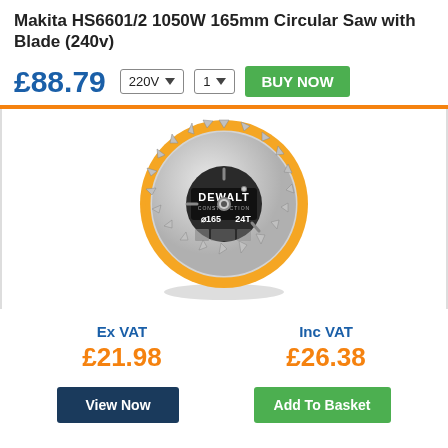Makita HS6601/2 1050W 165mm Circular Saw with Blade (240v)
£88.79  220V ▼  1 ▼  BUY NOW
[Figure (photo): DeWalt Construction circular saw blade, 165mm diameter, 24 teeth, yellow and silver, with orange accent ring]
Ex VAT
Inc VAT
£21.98
£26.38
View Now
Add To Basket